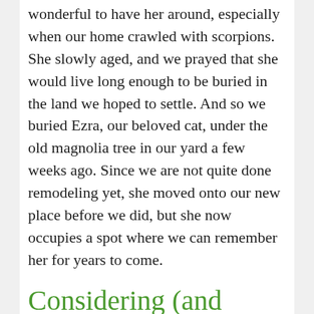wonderful to have her around, especially when our home crawled with scorpions. She slowly aged, and we prayed that she would live long enough to be buried in the land we hoped to settle. And so we buried Ezra, our beloved cat, under the old magnolia tree in our yard a few weeks ago. Since we are not quite done remodeling yet, she moved onto our new place before we did, but she now occupies a spot where we can remember her for years to come.
Considering (and Changing) Our Cats' Diet
Although I do not believe in spending exorbitant amounts of money to keep an ailing animal alive